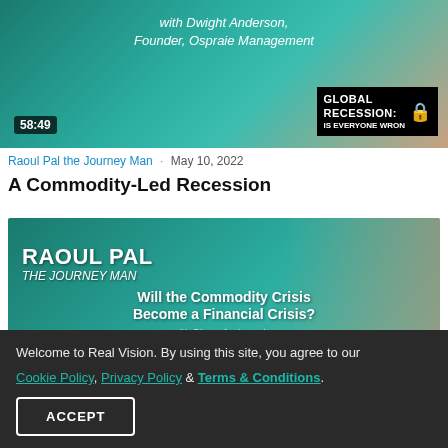[Figure (screenshot): Video thumbnail showing a man outdoors with text 'with Dwight Anderson, Founder, Ospraie Management', duration badge '58:49', and 'GLOBAL RECESSION: IS EVERYONE WRON' badge with lock icon]
Raoul Pal the Journey Man · May 10, 2022
A Commodity-Led Recession
[Figure (screenshot): Video thumbnail with teal/green background showing 'RAOUL PAL THE JOURNEY MAN Will the Commodity Crisis Become a Financial Crisis? with Pierre Andurand...']
Welcome to Real Vision. By using this site, you agree to our Cookie Policy, Privacy Policy & Terms & Conditions.
ACCEPT